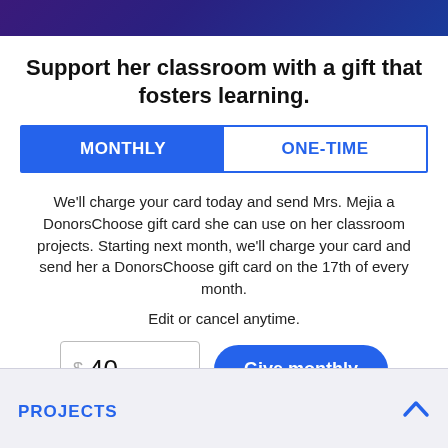Support her classroom with a gift that fosters learning.
MONTHLY | ONE-TIME
We'll charge your card today and send Mrs. Mejia a DonorsChoose gift card she can use on her classroom projects. Starting next month, we'll charge your card and send her a DonorsChoose gift card on the 17th of every month.
Edit or cancel anytime.
$ 40  Give monthly
PROJECTS